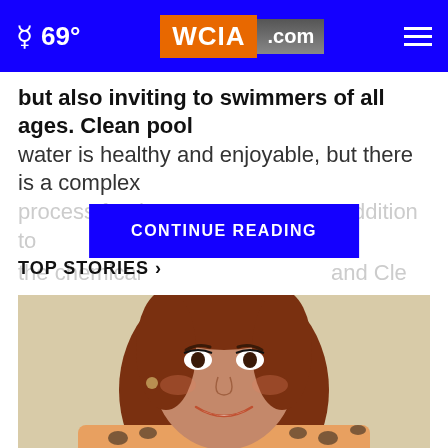69° WCIA.com
but also inviting to swimmers of all ages. Clean pool water is healthy and enjoyable, but there is a complex process for the [CONTINUE READING] h addition to the chemical [obscured] and Cle...
TOP STORIES ›
[Figure (photo): Portrait photo of a smiling young woman with long wavy reddish-brown hair, wearing a leopard print top, against a light beige background.]